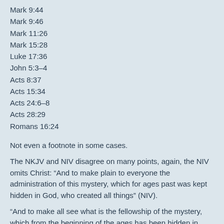Mark 9:44
Mark 9:46
Mark 11:26
Mark 15:28
Luke 17:36
John 5:3–4
Acts 8:37
Acts 15:34
Acts 24:6–8
Acts 28:29
Romans 16:24
Not even a footnote in some cases.
The NKJV and NIV disagree on many points, again, the NIV omits Christ: “And to make plain to everyone the administration of this mystery, which for ages past was kept hidden in God, who created all things” (NIV).
“And to make all see what is the fellowship of the mystery, which from the beginning of the ages has been hidden in God who created all things through Jesus Christ” (NKJV).
Virginia Ramey Mollenkott (see pic above): Literary consultant. Episcopal magazine, Witness (June 1991, pp. 20-23), above she admits,